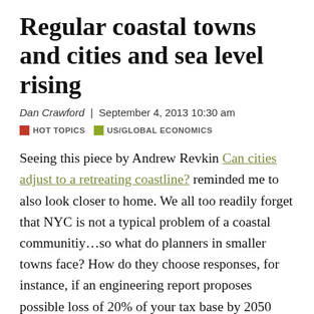Regular coastal towns and cities and sea level rising
Dan Crawford | September 4, 2013 10:30 am
HOT TOPICS   US/GLOBAL ECONOMICS
Seeing this piece by Andrew Revkin Can cities adjust to a retreating coastline? reminded me to also look closer to home. We all too readily forget that NYC is not a typical problem of a coastal communitiy…so what do planners in smaller towns face? How do they choose responses, for instance, if an engineering report proposes possible loss of 20% of your tax base by 2050 due to rise in sea